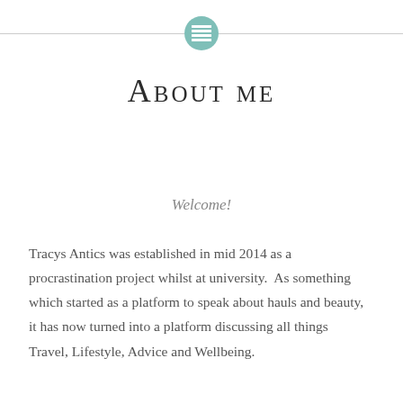[Figure (logo): A circular teal/mint colored icon with a grid/table symbol (lines) in white, centered between two horizontal gray lines as a decorative header divider.]
About me
Welcome!
Tracys Antics was established in mid 2014 as a procrastination project whilst at university.  As something which started as a platform to speak about hauls and beauty, it has now turned into a platform discussing all things Travel, Lifestyle, Advice and Wellbeing.